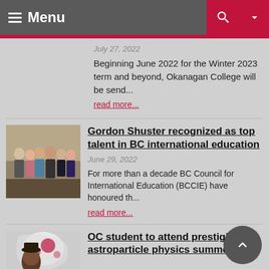Menu
July 27, 2022
Beginning June 2022 for the Winter 2023 term and beyond, Okanagan College will be send...
read more...
[Figure (photo): Group photo of several formally dressed people standing together]
Gordon Shuster recognized as top talent in BC international education
June 29, 2022
For more than a decade BC Council for International Education (BCCIE) have honoured th...
read more...
[Figure (photo): Student photo for OC student article]
OC student to attend prestigious astroparticle physics summer